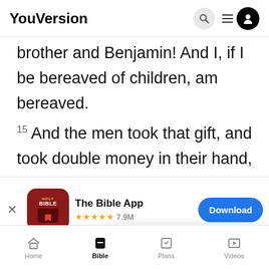YouVersion
brother and Benjamin! And I, if I be bereaved of children, am bereaved.
15 And the men took that gift, and took double money in their hand, and Benjamin, and rose up,
[Figure (screenshot): App download banner for The Bible App with Holy Bible icon, 5 star rating, 7.9M reviews, and Download button]
to the m
into the
YouVersion uses cookies to personalize your experience. By using our website, you accept our use of cookies as described in our Privacy Policy.
Home  Bible  Plans  Videos